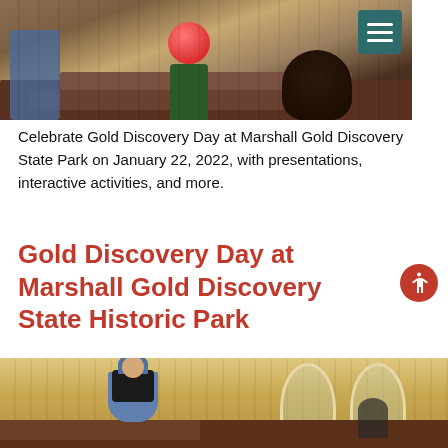[Figure (photo): Top portion of a photo showing church pews with people seated, one wearing a red ball-shaped hat, viewed from behind]
Celebrate Gold Discovery Day at Marshall Gold Discovery State Park on January 22, 2022, with presentations, interactive activities, and more.
Gold Discovery Day at Marshall Gold Discovery State Historic Park
[Figure (photo): Interior of a historic church building with wooden pews and arched windows. A person dressed in period costume (blue skirt, dark cape, blue hood) stands at the front.]